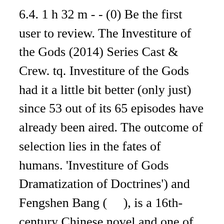6.4. 1 h 32 m - - (0) Be the first user to review. The Investiture of the Gods (2014) Series Cast & Crew. tq. Investiture of the Gods had it a little bit better (only just) since 53 out of its 65 episodes have already been aired. The outcome of selection lies in the fates of humans. 'Investiture of Gods Dramatization of Doctrines') and Fengshen Bang (　　), is a 16th-century Chinese novel and one of the major vernacular Chinese works in the gods-and-demons (shenmo) genre written during the Ming dynasty (1368–1644). Trailer Bookmark Introduce. His sends his apprentices forth in search of righteous candidates: Jiang Zi Ya assists Ji Fa in governing his new empire Zhou